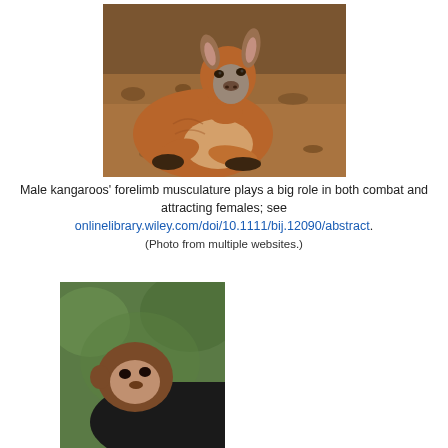[Figure (photo): A red kangaroo resting on sandy ground, facing the camera, with muscular forearms visible.]
Male kangaroos' forelimb musculature plays a big role in both combat and attracting females; see onlinelibrary.wiley.com/doi/10.1111/bij.12090/abstract. (Photo from multiple websites.)
[Figure (photo): A partial image of what appears to be a primate (monkey or ape) against a blurred green background.]